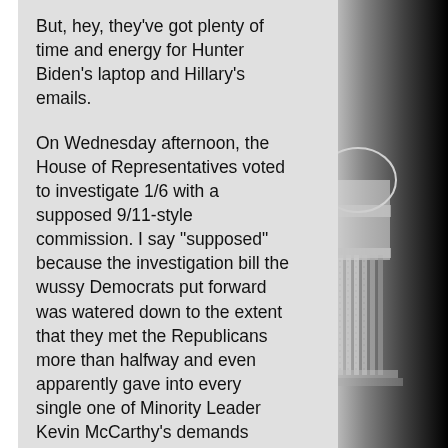But, hey, they've got plenty of time and energy for Hunter Biden's laptop and Hillary's emails.
On Wednesday afternoon, the House of Representatives voted to investigate 1/6 with a supposed 9/11-style commission. I say "supposed" because the investigation bill the wussy Democrats put forward was watered down to the extent that they met the Republicans more than halfway and even apparently gave into every single one of Minority Leader Kevin McCarthy's demands regarding formats, staffing, subpoena veto power, and procedures. Imagine giving al Qaeda a seat at the table for the 9/11 investigation or letting some German
[Figure (photo): Black and white photograph of the US Capitol building dome, showing the columned rotunda, visible on the right side of the page against a dark background.]